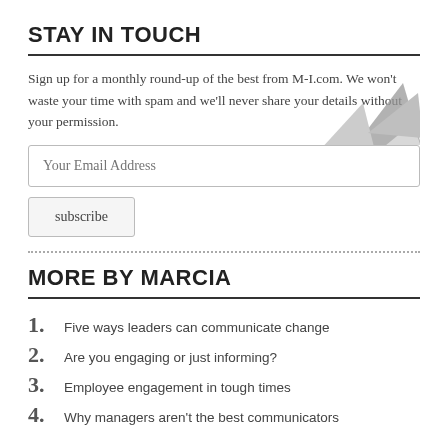STAY IN TOUCH
Sign up for a monthly round-up of the best from M-I.com. We won't waste your time with spam and we'll never share your details without your permission.
Your Email Address
subscribe
MORE BY MARCIA
Five ways leaders can communicate change
Are you engaging or just informing?
Employee engagement in tough times
Why managers aren't the best communicators